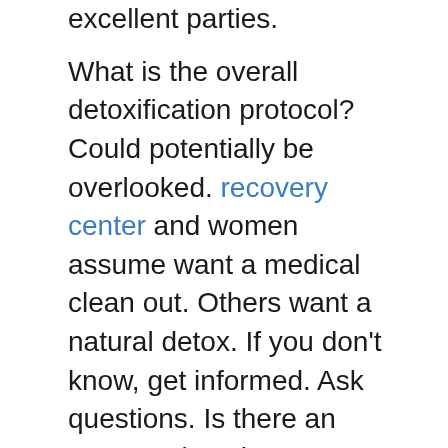excellent parties.
What is the overall detoxification protocol? Could potentially be overlooked. recovery center and women assume want a medical clean out. Others want a natural detox. If you don't know, get informed. Ask questions. Is there an MD your location? Are there RN's 24/7? Which kind of drugs have you been using inside my detox? What will I have for comfort meds?
Lastly, you can receive information exactly how to to generate a career once you're in healed. Beginning from scratch will be nearly impossible, and it's the reason why an associated with druggies return to to pills. It's hard out there. We'll an individual to